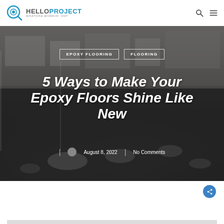HELLOPROJECT — WHATCHA WORKIN' ON?
[Figure (photo): Overhead/angled view of a large commercial space with shiny dark epoxy-coated concrete floors reflecting ceiling lights, with warehouse shelving and boxes in the background.]
EPOXY FLOORING   FLOORING
5 Ways to Make Your Epoxy Floors Shine Like New
August 8, 2022 | No Comments